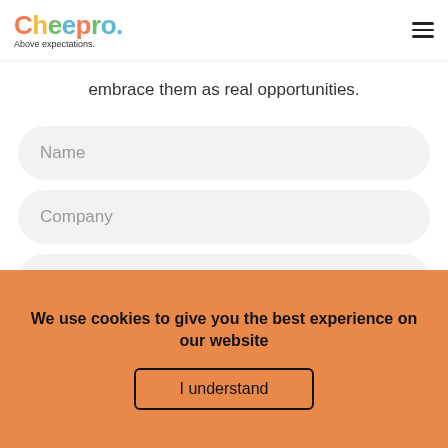Cheepro. Above expectations.
embrace them as real opportunities.
Name
Company
Email
We use cookies to give you the best experience on our website
I understand